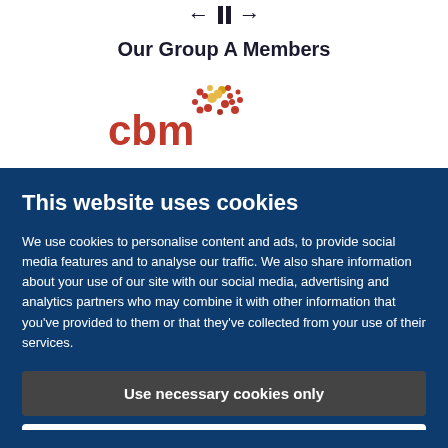[Figure (other): Navigation arrows (left arrow, pause icon, right arrow) for a carousel/slider]
Our Group A Members
[Figure (logo): CBM logo: red lowercase 'cbm' text with a circular dot pattern graphic in red and yellow]
This website uses cookies
We use cookies to personalise content and ads, to provide social media features and to analyse our traffic. We also share information about your use of our site with our social media, advertising and analytics partners who may combine it with other information that you've provided to them or that they've collected from your use of their services.
Use necessary cookies only
Allow all cookies